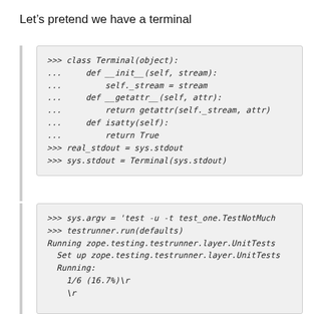Let’s pretend we have a terminal
>>> class Terminal(object):
...     def __init__(self, stream):
...         self._stream = stream
...     def __getattr__(self, attr):
...         return getattr(self._stream, attr)
...     def isatty(self):
...         return True
>>> real_stdout = sys.stdout
>>> sys.stdout = Terminal(sys.stdout)
>>> sys.argv = 'test -u -t test_one.TestNotMuch
>>> testrunner.run(defaults)
Running zope.testing.testrunner.layer.UnitTests
  Set up zope.testing.testrunner.layer.UnitTests
  Running:
    1/6 (16.7%)\r
    \r